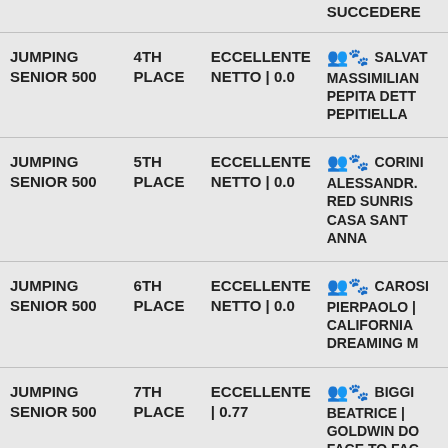| Event | Place | Score | Participant |
| --- | --- | --- | --- |
|  |  |  | SUCCEDERE |
| JUMPING SENIOR 500 | 4TH PLACE | ECCELLENTE NETTO | 0.0 | SALVAT MASSIMILIAN PEPITA DETT PEPITIELLA |
| JUMPING SENIOR 500 | 5TH PLACE | ECCELLENTE NETTO | 0.0 | CORINI ALESSANDR. RED SUNRIS CASA SANT ANNA |
| JUMPING SENIOR 500 | 6TH PLACE | ECCELLENTE NETTO | 0.0 | CAROSI PIERPAOLO | CALIFORNIA DREAMING M |
| JUMPING SENIOR 500 | 7TH PLACE | ECCELLENTE | 0.77 | BIGGI BEATRICE | GOLDWIN DO FACE TO FAC |